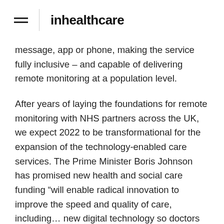inhealthcare
message, app or phone, making the service fully inclusive – and capable of delivering remote monitoring at a population level.
After years of laying the foundations for remote monitoring with NHS partners across the UK, we expect 2022 to be transformational for the expansion of the technology-enabled care services. The Prime Minister Boris Johnson has promised new health and social care funding “will enable radical innovation to improve the speed and quality of care, including… new digital technology so doctors can monitor patients remotely in their homes”. In her landmark report, ‘Putting data, digital and tech at the